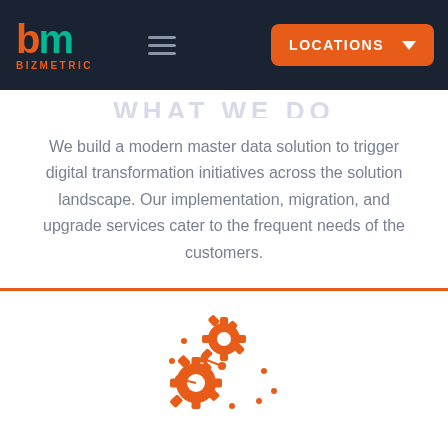[Figure (logo): BizMetric logo with orange 'b' and teal 'm' letters, with 'BIZMETRIC' text below in orange]
LOCATIONS
WHAT WE DO
We build a modern master data solution to trigger digital transformation initiatives across the solution landscape. Our implementation, migration, and upgrade services cater to the frequent needs of the customers.
[Figure (illustration): Orange gear/cog icons illustration representing technology/services]